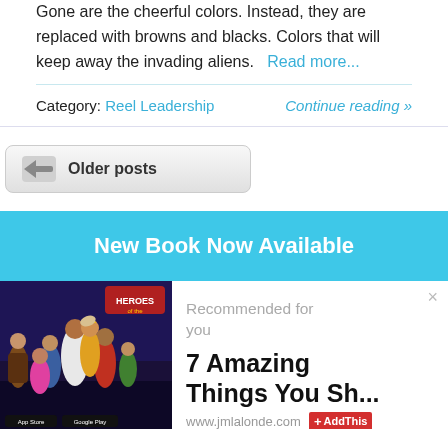Gone are the cheerful colors. Instead, they are replaced with browns and blacks. Colors that will keep away the invading aliens. Read more...
Category: Reel Leadership    Continue reading »
Older posts
New Book Now Available
[Figure (illustration): Book cover illustration showing biblical heroes with colorful costumes, labeled 'Heroes of the Bible']
Recommended for you
7 Amazing Things You Sh...
www.jmlalonde.com   AddThis